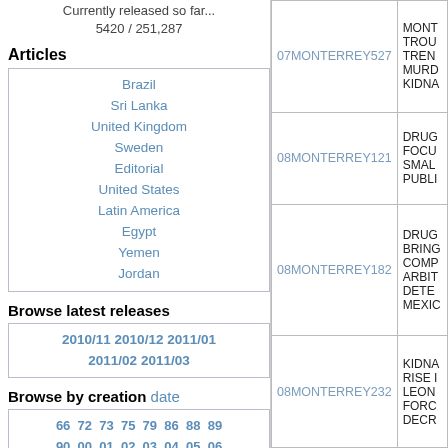Currently released so far... 5420 / 251,287
Articles
Brazil
Sri Lanka
United Kingdom
Sweden
Editorial
United States
Latin America
Egypt
Yemen
Jordan
Browse latest releases
2010/11 2010/12 2011/01 2011/02 2011/03
Browse by creation date
66 72 73 75 79 86 88 89 90 00 01 02 03 04 05 06 07 08 09 10
| Cable ID | Title |
| --- | --- |
| 07MONTERREY527 | MONT TROU TREN MURD KIDNA |
| 08MONTERREY121 | DRUG FOCU SMAL PUBLI |
| 08MONTERREY182 | DRUG BRING COMP ARBIT DETE MEXIC |
| 08MONTERREY232 | KIDNA RISE LEON FORC DECR |